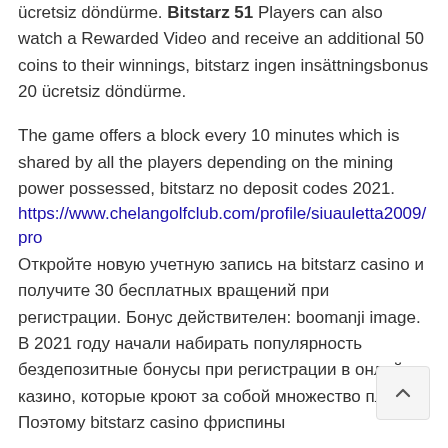ücretsiz döndürme. Bitstarz 51 Players can also watch a Rewarded Video and receive an additional 50 coins to their winnings, bitstarz ingen insättningsbonus 20 ücretsiz döndürme.
The game offers a block every 10 minutes which is shared by all the players depending on the mining power possessed, bitstarz no deposit codes 2021.
https://www.chelangolfclub.com/profile/siuauletta2009/pro
Откройте новую учетную запись на bitstarz casino и получите 30 бесплатных вращений при регистрации. Бонус действителен: boomanji image. В 2021 году начали набирать популярность бездепозитные бонусы при регистрации в онлайн-казино, которые кроют за собой множество плюсов. Поэтому bitstarz casino фриспины